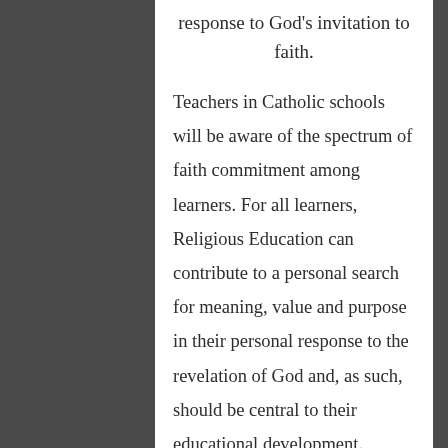response to God's invitation to faith.
Teachers in Catholic schools will be aware of the spectrum of faith commitment among learners. For all learners, Religious Education can contribute to a personal search for meaning, value and purpose in their personal response to the revelation of God and, as such, should be central to their educational development.
fidelity to God
In showing fidelity to God,